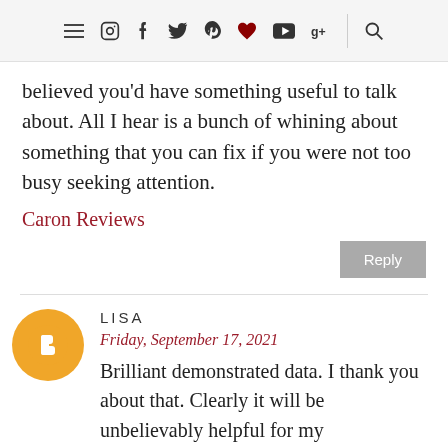Navigation bar with menu and social icons
believed you'd have something useful to talk about. All I hear is a bunch of whining about something that you can fix if you were not too busy seeking attention.
Caron Reviews
Reply
LISA
Friday, September 17, 2021
Brilliant demonstrated data. I thank you about that. Clearly it will be unbelievably helpful for my